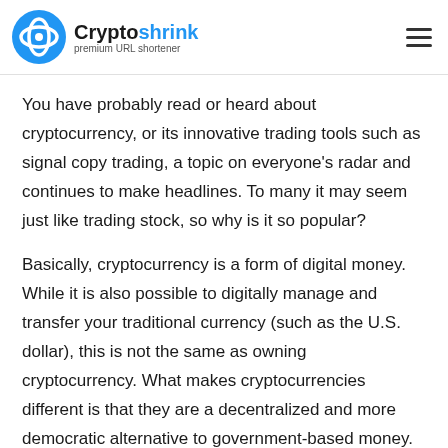Cryptoshrink premium URL shortener
You have probably read or heard about cryptocurrency, or its innovative trading tools such as signal copy trading, a topic on everyone's radar and continues to make headlines. To many it may seem just like trading stock, so why is it so popular?
Basically, cryptocurrency is a form of digital money. While it is also possible to digitally manage and transfer your traditional currency (such as the U.S. dollar), this is not the same as owning cryptocurrency. What makes cryptocurrencies different is that they are a decentralized and more democratic alternative to government-based money.